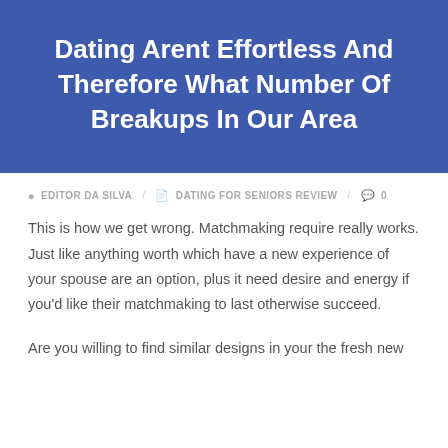Dating Arent Effortless And Therefore What Number Of Breakups In Our Area
EDITOR DA SILVA / DATING FOR SENIORS REVIEW / 0
This is how we get wrong. Matchmaking require really works. Just like anything worth which have a new experience of your spouse are an option, plus it need desire and energy if you'd like their matchmaking to last otherwise succeed.
Are you willing to find similar designs in your the fresh new